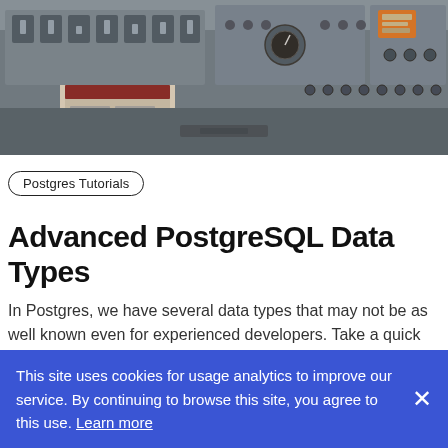[Figure (photo): Photograph of a vintage industrial control panel with switches, gauges, dials, knobs, and a document/binder on the left side. Sepia/grayscale tones.]
Postgres Tutorials
Advanced PostgreSQL Data Types
In Postgres, we have several data types that may not be as well known even for experienced developers. Take a quick look at arrays, enum, and range types.
Kat Batuigas
This site uses cookies for usage analytics to improve our service. By continuing to browse this site, you agree to this use. Learn more